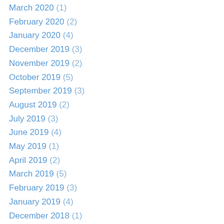March 2020 (1)
February 2020 (2)
January 2020 (4)
December 2019 (3)
November 2019 (2)
October 2019 (5)
September 2019 (3)
August 2019 (2)
July 2019 (3)
June 2019 (4)
May 2019 (1)
April 2019 (2)
March 2019 (5)
February 2019 (3)
January 2019 (4)
December 2018 (1)
November 2018 (3)
October 2018 (4)
September 2018 (4)